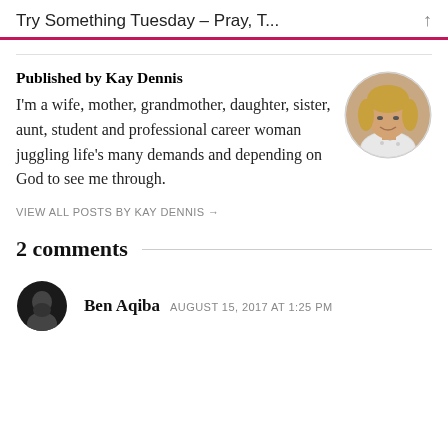Try Something Tuesday – Pray, T...
Published by Kay Dennis
I'm a wife, mother, grandmother, daughter, sister, aunt, student and professional career woman juggling life's many demands and depending on God to see me through.
[Figure (photo): Circular portrait photo of Kay Dennis, a woman with blonde hair smiling]
VIEW ALL POSTS BY KAY DENNIS →
2 comments
[Figure (photo): Circular avatar of Ben Aqiba, dark silhouette with beard on black background]
Ben Aqiba   AUGUST 15, 2017 AT 1:25 PM